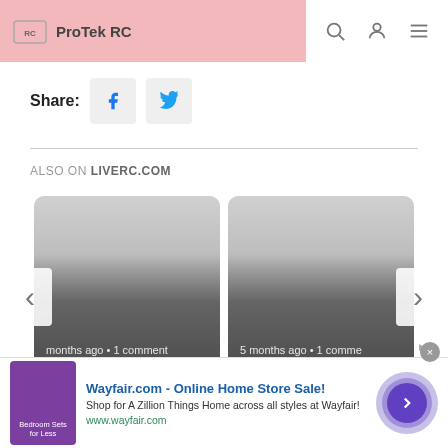ProTek RC
Share:
ALSO ON LIVERC.COM
[Figure (screenshot): Card 1: months ago • 1 comment / New Car Sports Eliminator RC Shocks]
[Figure (screenshot): Card 2: 5 months ago • 1 comment / Industry Analytics Weekly Stats ...]
Wayfair.com - Online Home Store Sale! Shop for A Zillion Things Home across all styles at Wayfair! www.wayfair.com